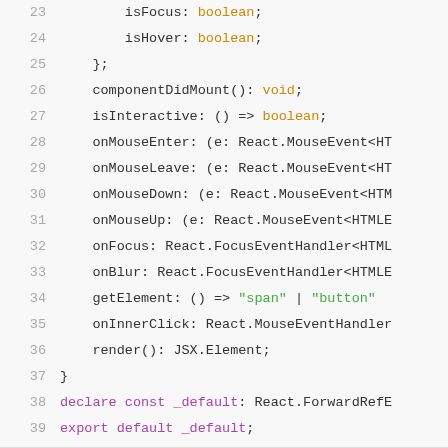[Figure (screenshot): Syntax-highlighted TypeScript/JavaScript code listing showing lines 23–39 of a class interface definition. Line numbers are in grey; type keywords like 'boolean' and 'void' are in orange; string literals 'span' and 'button' are in green; declare/export/const keywords are in purple; other code is in dark grey on a light background.]